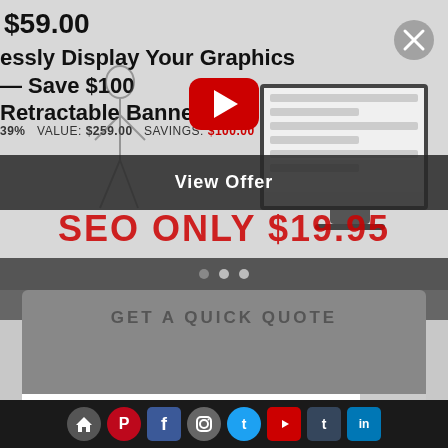$59.00
essly Display Your Graphics — Save $100 Retractable Banner
39%  VALUE: $259.00  SAVINGS: $100.00
[Figure (screenshot): Website screenshot showing promotional banner ad with YouTube play button overlay, SEO offer graphic, monitor illustration, and illustrated figure of person. Dark semi-transparent overlay with 'View Offer' text button.]
View Offer
SEO ONLY $19.95
GET A QUICK QUOTE
NAME
Home Pinterest Facebook Instagram Twitter YouTube Tumblr LinkedIn